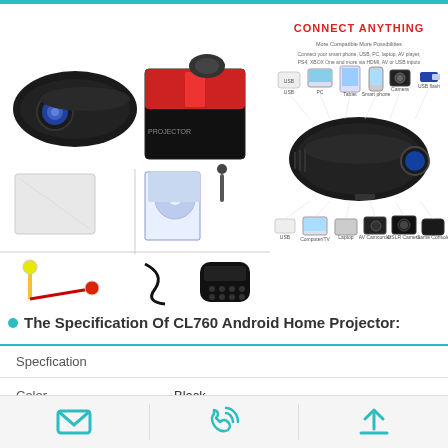[Figure (photo): Product photo showing CL760 Android Home Projector device and box, plus accessories: cleaning cloth, manual/CD, antenna, AV cable, power cable, and remote control arranged in a grid layout]
[Figure (infographic): Connect Anything infographic showing the projector device in center surrounded by compatible devices: USB, PC, tablet, smartphone, camera, game console, laptop; with text explaining multi-device compatibility]
The Specification Of CL760 Android Home Projector:
| Specification |  |
| --- | --- |
| Color | Black |
| Projector |  |
[Figure (infographic): Footer bar with three icons: envelope/email icon, telephone icon, and upload/up-arrow icon, separated by vertical dividers]